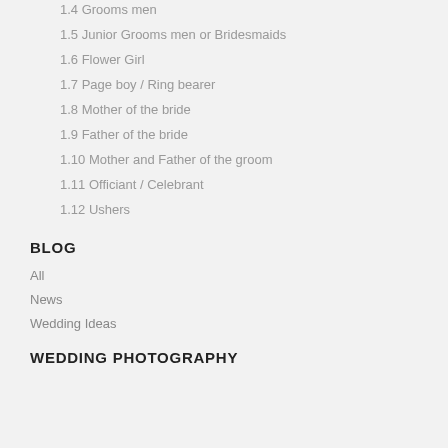1.5  Junior Grooms men or Bridesmaids
1.6  Flower Girl
1.7  Page boy / Ring bearer
1.8  Mother of the bride
1.9  Father of the bride
1.10  Mother and Father of the groom
1.11  Officiant / Celebrant
1.12  Ushers
BLOG
All
News
Wedding Ideas
WEDDING PHOTOGRAPHY